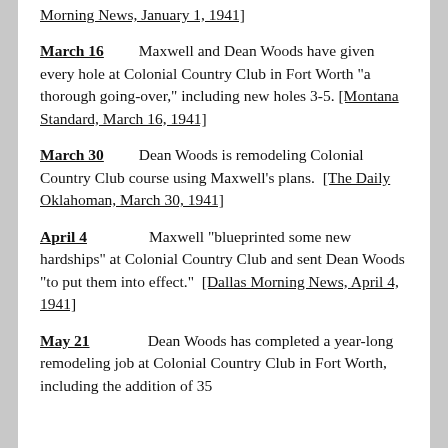Morning News, January 1, 1941]
March 16    Maxwell and Dean Woods have given every hole at Colonial Country Club in Fort Worth “a thorough going-over,” including new holes 3-5. [Montana Standard, March 16, 1941]
March 30    Dean Woods is remodeling Colonial Country Club course using Maxwell’s plans. [The Daily Oklahoman, March 30, 1941]
April 4    Maxwell “bluep rinted some new hardships” at Colonial Country Club and sent Dean Woods “to put them into effect.” [Dallas Morning News, April 4, 1941]
May 21    Dean Woods has completed a year-long remodeling job at Colonial Country Club in Fort Worth, including the addition of 35...